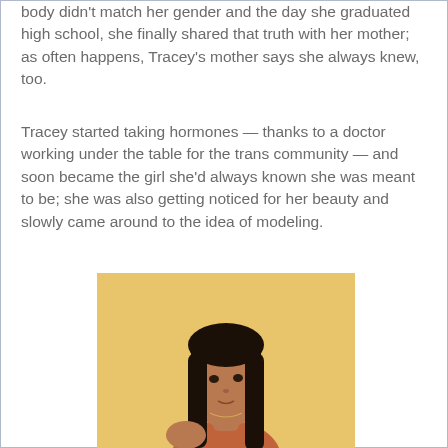body didn't match her gender and the day she graduated high school, she finally shared that truth with her mother; as often happens, Tracey's mother says she always knew, too.
Tracey started taking hormones — thanks to a doctor working under the table for the trans community — and soon became the girl she'd always known she was meant to be; she was also getting noticed for her beauty and slowly came around to the idea of modeling.
[Figure (photo): A woman with long dark straight hair and bangs, wearing a reddish sleeveless top, posed against a yellow/golden background, looking over her shoulder.]